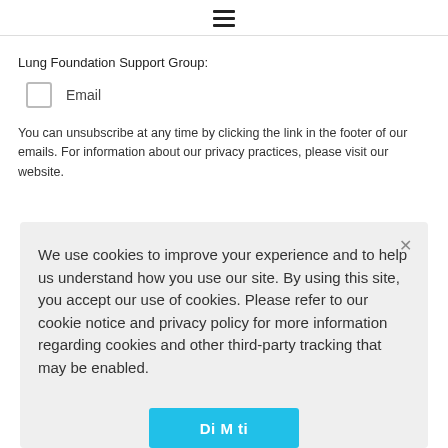≡
Lung Foundation Support Group:
☐ Email
You can unsubscribe at any time by clicking the link in the footer of our emails. For information about our privacy practices, please visit our website.
We use cookies to improve your experience and to help us understand how you use our site. By using this site, you accept our use of cookies. Please refer to our cookie notice and privacy policy for more information regarding cookies and other third-party tracking that may be enabled.